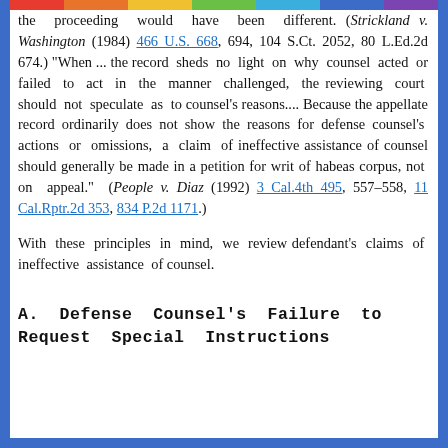the proceeding would have been different. (Strickland v. Washington (1984) 466 U.S. 668, 694, 104 S.Ct. 2052, 80 L.Ed.2d 674.) "When ... the record sheds no light on why counsel acted or failed to act in the manner challenged, the reviewing court should not speculate as to counsel's reasons.... Because the appellate record ordinarily does not show the reasons for defense counsel's actions or omissions, a claim of ineffective assistance of counsel should generally be made in a petition for writ of habeas corpus, not on appeal." (People v. Diaz (1992) 3 Cal.4th 495, 557-558, 11 Cal.Rptr.2d 353, 834 P.2d 1171.)
With these principles in mind, we review defendant's claims of ineffective assistance of counsel.
A. Defense Counsel's Failure to Request Special Instructions